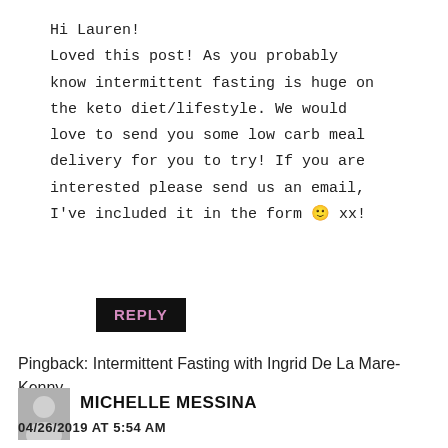Hi Lauren!
Loved this post! As you probably know intermittent fasting is huge on the keto diet/lifestyle. We would love to send you some low carb meal delivery for you to try! If you are interested please send us an email, I've included it in the form 🙂 xx!
REPLY
Pingback: Intermittent Fasting with Ingrid De La Mare-Kenny
MICHELLE MESSINA
04/26/2019 AT 5:54 AM
I tried the intermittent fasting as